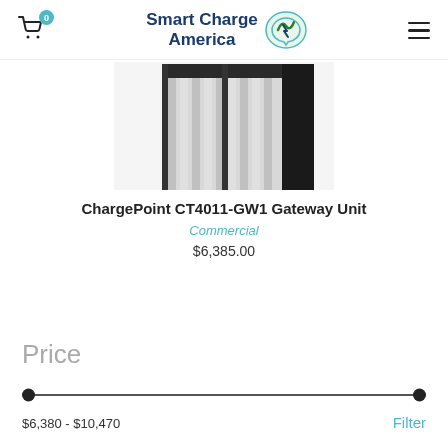Smart Charge America — 0 cart items — hamburger menu
[Figure (photo): Product photo of ChargePoint CT4011-GW1 Gateway Unit showing a dark-framed charging station unit with vertical ribbed silver panels]
ChargePoint CT4011-GW1 Gateway Unit
Commercial
$6,385.00
Price
$6,380 - $10,470
Filter